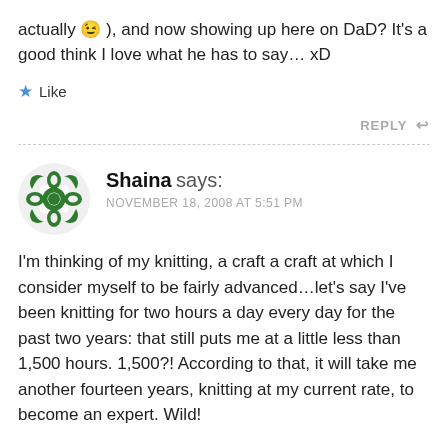actually 😉 ), and now showing up here on DaD? It's a good think I love what he has to say… xD
★ Like
REPLY ↩
Shaina says: NOVEMBER 18, 2008 AT 5:51 PM
I'm thinking of my knitting, a craft a craft at which I consider myself to be fairly advanced…let's say I've been knitting for two hours a day every day for the past two years: that still puts me at a little less than 1,500 hours. 1,500?! According to that, it will take me another fourteen years, knitting at my current rate, to become an expert. Wild!